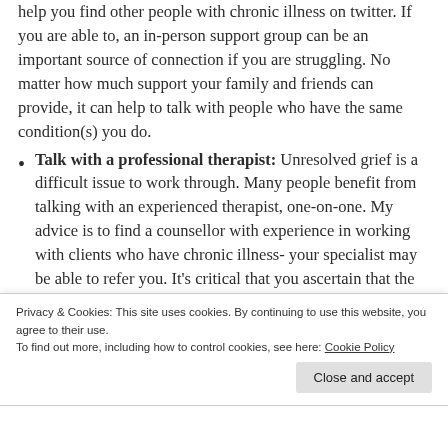help you find other people with chronic illness on twitter. If you are able to, an in-person support group can be an important source of connection if you are struggling. No matter how much support your family and friends can provide, it can help to talk with people who have the same condition(s) you do.
Talk with a professional therapist: Unresolved grief is a difficult issue to work through. Many people benefit from talking with an experienced therapist, one-on-one. My advice is to find a counsellor with experience in working with clients who have chronic illness- your specialist may be able to refer you. It's critical that you ascertain that the therapist validates the existence of your chronic illness and does not tell clients that the
Privacy & Cookies: This site uses cookies. By continuing to use this website, you agree to their use.
To find out more, including how to control cookies, see here: Cookie Policy